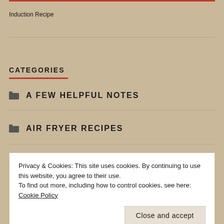Induction Recipe
CATEGORIES
A FEW HELPFUL NOTES
AIR FRYER RECIPES
Privacy & Cookies: This site uses cookies. By continuing to use this website, you agree to their use. To find out more, including how to control cookies, see here: Cookie Policy
Close and accept